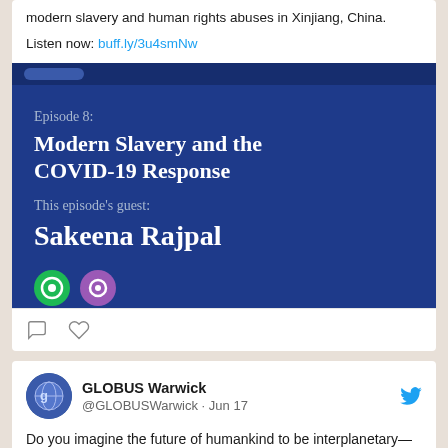modern slavery and human rights abuses in Xinjiang, China.
Listen now: buff.ly/3u4smNw
[Figure (screenshot): Podcast episode card with dark blue background. Shows 'Episode 8: Modern Slavery and the COVID-19 Response' and 'This episode's guest: Sakeena Rajpal'. Bottom shows podcast platform icons.]
[Figure (other): Twitter action icons: comment and like (heart)]
GLOBUS Warwick @GLOBUSWarwick · Jun 17
Do you imagine the future of humankind to be interplanetary—or even galactic?  Anchored, a debut short story by a GLOBUS author Šimon Michalčík, imagines a future with a cast of our